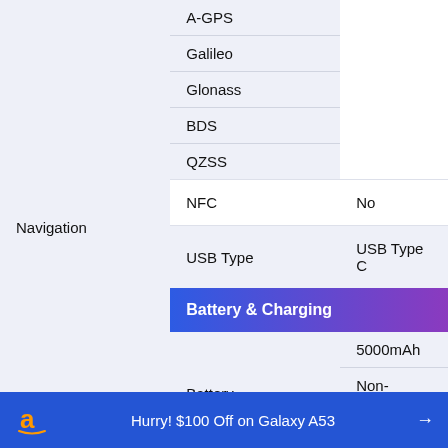| Spec | Value |
| --- | --- |
| Navigation | A-GPS |
| Navigation | Galileo |
| Navigation | Glonass |
| Navigation | BDS |
| Navigation | QZSS |
| NFC | No |
| USB Type | USB Type C |
| Battery & Charging |  |
| Battery | 5000mAh |
| Battery | Non-Removable Li-Polymer Battery |
Hurry! $100 Off on Galaxy A53